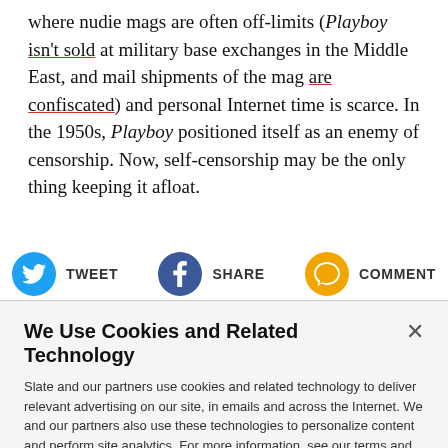where nudie mags are often off-limits (Playboy isn't sold at military base exchanges in the Middle East, and mail shipments of the mag are confiscated) and personal Internet time is scarce. In the 1950s, Playboy positioned itself as an enemy of censorship. Now, self-censorship may be the only thing keeping it afloat.
[Figure (other): Social sharing buttons: Tweet (Twitter/blue), Share (Facebook/dark blue), Comment (yellow speech bubble)]
We Use Cookies and Related Technology
Slate and our partners use cookies and related technology to deliver relevant advertising on our site, in emails and across the Internet. We and our partners also use these technologies to personalize content and perform site analytics. For more information, see our terms and privacy policy. Privacy Policy
OK